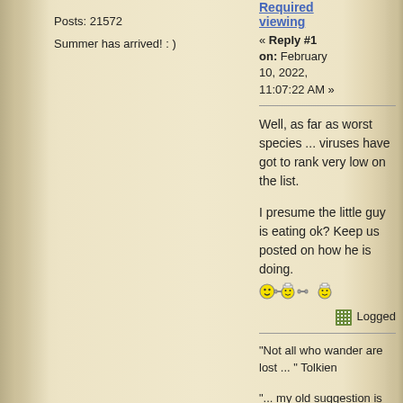Posts: 21572
Summer has arrived! : )
Required viewing
« Reply #1 on: February 10, 2022, 11:07:22 AM »
Well, as far as worst species ... viruses have got to rank very low on the list.
I presume the little guy is eating ok? Keep us posted on how he is doing.
Logged
"Not all who wander are lost ... " Tolkien
"... my old suggestion is forget it, take two aspirins and go paint" steveb